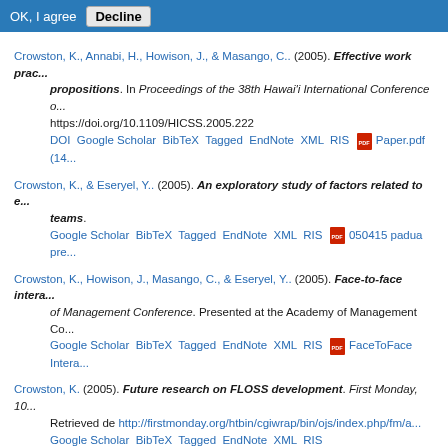OK, I agree  Decline
Crowston, K., Annabi, H., Howison, J., & Masango, C.. (2005). Effective work prac... propositions. In Proceedings of the 38th Hawai'i International Conference o... https://doi.org/10.1109/HICSS.2005.222
DOI Google Scholar BibTeX Tagged EndNote XML RIS  Paper.pdf (14...
Crowston, K., & Eseryel, Y.. (2005). An exploratory study of factors related to e... teams.
Google Scholar BibTeX Tagged EndNote XML RIS  050415 padua pre...
Crowston, K., Howison, J., Masango, C., & Eseryel, Y.. (2005). Face-to-face intera... of Management Conference. Presented at the Academy of Management Co...
Google Scholar BibTeX Tagged EndNote XML RIS  FaceToFace Intera...
Crowston, K. (2005). Future research on FLOSS development. First Monday, 10... Retrieved de http://firstmonday.org/htbin/cgiwrap/bin/ojs/index.php/fm/a...
Google Scholar BibTeX Tagged EndNote XML RIS
Crowston, K. (2005). SE, IS & (FL)OSS @ EASE.
Google Scholar BibTeX Tagged EndNote XML RIS  crowston_EASE_ta...
Crowston, K., & Howison, J.. (2005). The social structure of Free and Open Sou... de http://firstmonday.org/htbin/cgiwrap/bin/ojs/index.php/fm/article/view/...
Google Scholar BibTeX Tagged EndNote XML RIS  Social structure of...